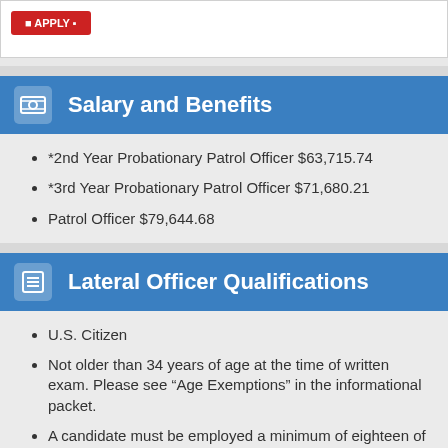[Figure (other): Red button/badge at top of page]
Salary and Benefits
*2nd Year Probationary Patrol Officer $63,715.74
*3rd Year Probationary Patrol Officer $71,680.21
Patrol Officer $79,644.68
Lateral Officer Qualifications
U.S. Citizen
Not older than 34 years of age at the time of written exam. Please see “Age Exemptions” in the informational packet.
A candidate must be employed a minimum of eighteen of